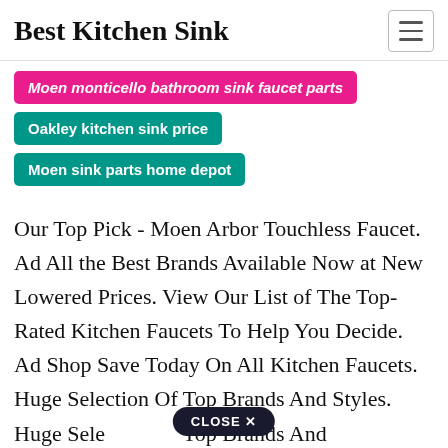Best Kitchen Sink
Moen monticello bathroom sink faucet parts
Oakley kitchen sink price
Moen sink parts home depot
Our Top Pick - Moen Arbor Touchless Faucet. Ad All the Best Brands Available Now at New Lowered Prices. View Our List of The Top-Rated Kitchen Faucets To Help You Decide. Ad Shop Save Today On All Kitchen Faucets. Huge Selection Of Top Brands And Styles. Huge Selection Of Top Brands And